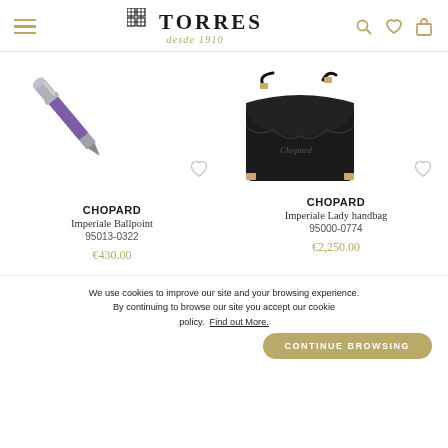TORRES desde 1910 - navigation header with hamburger menu, logo, search, wishlist, and cart icons
[Figure (photo): Chopard Imperiale Ballpoint pen - purple/violet with silver trim, shown diagonally]
[Figure (photo): Chopard Imperiale Lady handbag - black leather structured bag with gold hardware]
CHOPARD
Imperiale Ballpoint
95013-0322
€430.00
CHOPARD
Imperiale Lady handbag
95000-0774
€2,250.00
We use cookies to improve our site and your browsing experience. By continuing to browse our site you accept our cookie policy. Find out More.
CONTINUE BROWSING